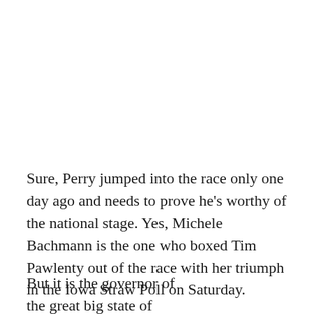Sure, Perry jumped into the race only one day ago and needs to prove he's worthy of the national stage. Yes, Michele Bachmann is the one who boxed Tim Pawlenty out of the race with her triumph in the Iowa Straw Poll on Saturday.
But it is the governor of the great big state of